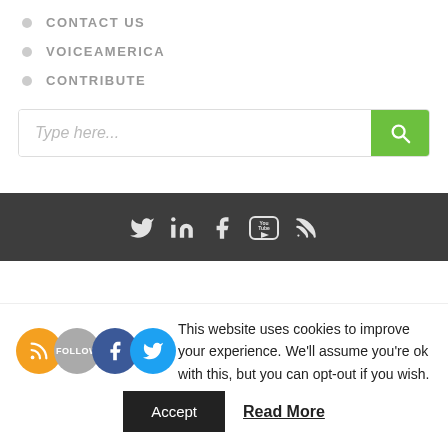CONTACT US
VOICEAMERICA
CONTRIBUTE
[Figure (screenshot): Search input box with placeholder 'Type here...' and green search button with magnifying glass icon]
[Figure (infographic): Dark footer bar with social media icons: Twitter, LinkedIn, Facebook, YouTube, RSS]
This website uses cookies to improve your experience. We'll assume you're ok with this, but you can opt-out if you wish.
[Figure (infographic): Cookie consent overlay social icons: RSS (orange), Follow (gray), Facebook (blue), Twitter (light blue)]
Accept  Read More